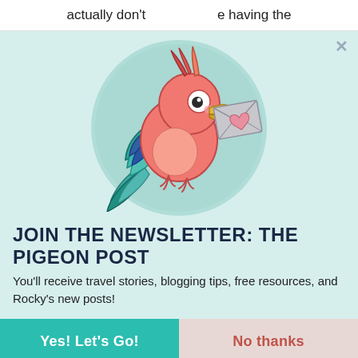actually don't … e having the
[Figure (illustration): Cartoon parrot bird holding a grey envelope with a pink heart, standing in front of a teal circular background. The bird is salmon/coral colored with teal and blue wing feathers and a yellow beak.]
JOIN THE NEWSLETTER: THE PIGEON POST
You'll receive travel stories, blogging tips, free resources, and Rocky's new posts!
Yes! Let's Go!
No thanks